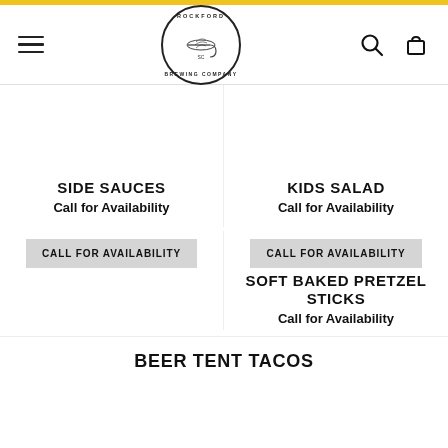Rockford Brewing Company
SIDE SAUCES
Call for Availability
KIDS SALAD
Call for Availability
CALL FOR AVAILABILITY
SOFT BAKED PRETZEL STICKS
CALL FOR AVAILABILITY
Call for Availability
BEER TENT TACOS